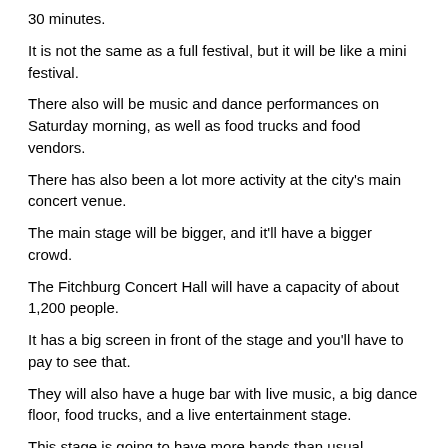30 minutes.
It is not the same as a full festival, but it will be like a mini festival.
There also will be music and dance performances on Saturday morning, as well as food trucks and food vendors.
There has also been a lot more activity at the city's main concert venue.
The main stage will be bigger, and it'll have a bigger crowd.
The Fitchburg Concert Hall will have a capacity of about 1,200 people.
It has a big screen in front of the stage and you'll have to pay to see that.
They will also have a huge bar with live music, a big dance floor, food trucks, and a live entertainment stage.
This stage is going to have more bands than usual.
It also will have more live music on Saturday mornings and that's where the festival usually gets a lot better.
They do that so that the fans can still get their show.
There might even be a bigger show on Saturday if the festival continues.
The other stages are going to start at noon.
The fiestas music is going on in the second stage.
It comes from the Fischlers' concert hall and it has a bigger audience than the first stage.
They've been doing a lot bigger concerts than usual on the second and